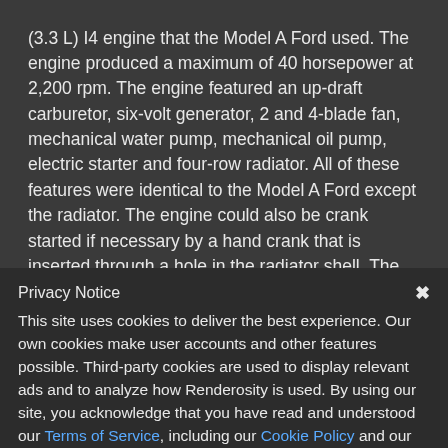(3.3 L) I4 engine that the Model A Ford used. The engine produced a maximum of 40 horsepower at 2,200 rpm. The engine featured an up-draft carburetor, six-volt generator, 2 and 4-blade fan, mechanical water pump, mechanical oil pump, electric starter and four-row radiator. All of these features were identical to the Model A Ford except the radiator. The engine could also be crank started if necessary by a hand crank that is inserted through a hole in the radiator shell. The Model AA was based on a chassis that was similar in design to the Model A Ford, except it was substantially larger and heavier to accommodate the work this truck was designed for.
Privacy Notice
This site uses cookies to deliver the best experience. Our own cookies make user accounts and other features possible. Third-party cookies are used to display relevant ads and to analyze how Renderosity is used. By using our site, you acknowledge that you have read and understood our Terms of Service, including our Cookie Policy and our Privacy Policy.